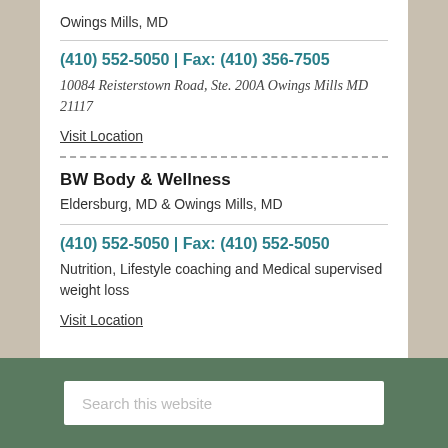Owings Mills, MD
(410) 552-5050 | Fax: (410) 356-7505
10084 Reisterstown Road, Ste. 200A Owings Mills MD 21117
Visit Location
BW Body & Wellness
Eldersburg, MD & Owings Mills, MD
(410) 552-5050 | Fax: (410) 552-5050
Nutrition, Lifestyle coaching and Medical supervised weight loss
Visit Location
Search this website